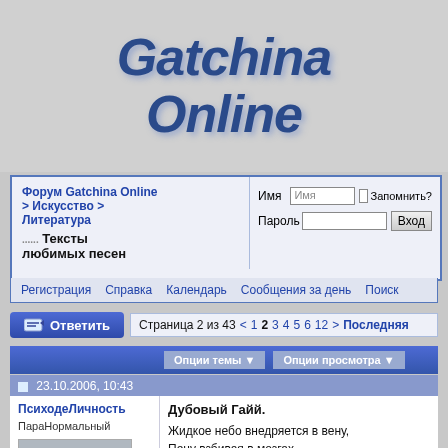[Figure (logo): Gatchina Online logo in bold italic blue text]
| Форум Gatchina Online > Искусство > Литература | Имя | Имя | Запомнить? |
| ......Тексты любимых песен | Пароль |  | Вход |
Регистрация   Справка   Календарь   Сообщения за день   Поиск
Ответить   Страница 2 из 43 < 1 2 3 4 5 6 12 > Последняя
Опции темы ▼   Опции просмотра ▼
23.10.2006, 10:43
ПсиходеЛичность
ПараНормальный
[Figure (photo): School photo of a young boy in white shirt and red neckerchief]
Дубовый Гайй.
Жидкое небо внедряется в вену,
Пену взбивая в мозгах,
Страх проходит, раскрывая мне стены
Беспредельного чувства в новых мирах.
Крест, к которому я приколочен
Инсулиновой иглой,
Кровоточит.